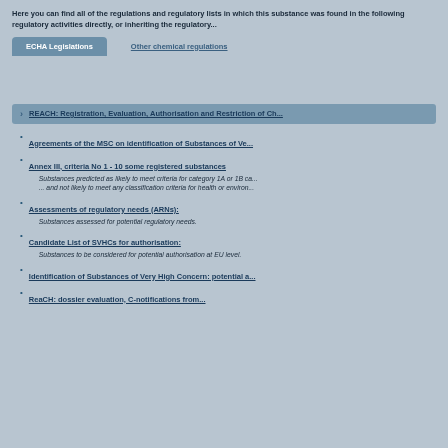Here you can find all of the regulations and regulatory lists in which this substance was found as the following regulatory activities directly, or inheriting the regulatory activities...
ECHA Legislations    Other chemical regulations
REACH: Registration, Evaluation, Authorisation and Restriction of Ch...
Agreements of the MSC on identification of Substances of Very High Concern
Annex III, criteria No 1 - 10 some registered substances
Substances predicted as likely to meet criteria for category 1A or 1B carcinogens likely to meet any classification criteria for health or environmental...
Assessments of regulatory needs (ARNs):
Substances assessed for potential regulatory needs.
Candidate List of SVHCs for authorisation:
Substances to be considered for potential authorisation at EU level.
Identification of Substances of Very High Concern: potential a...
ReaCH: dossier evaluation, C-notifications from...